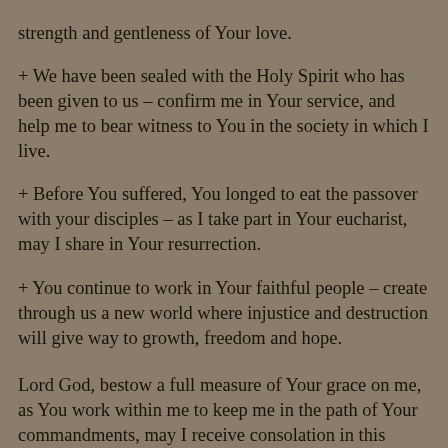strength and gentleness of Your love.
+ We have been sealed with the Holy Spirit who has been given to us – confirm me in Your service, and help me to bear witness to You in the society in which I live.
+ Before You suffered, You longed to eat the passover with your disciples – as I take part in Your eucharist, may I share in Your resurrection.
+ You continue to work in Your faithful people – create through us a new world where injustice and destruction will give way to growth, freedom and hope.
Lord God, bestow a full measure of Your grace on me, as You work within me to keep me in the path of Your commandments, may I receive consolation in this present life and eternal joys in the next. Through my Lord Jesus Christ, Your Son, who lives and reigns with You and the Holy Spirit,